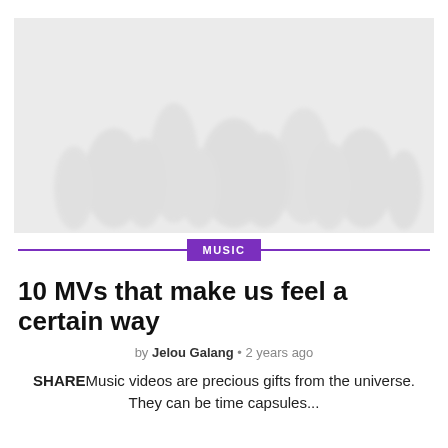[Figure (photo): Light grey hero image with faint textured background suggesting a crowd or concert scene]
MUSIC
10 MVs that make us feel a certain way
by Jelou Galang • 2 years ago
SHAREMusic videos are precious gifts from the universe. They can be time capsules...